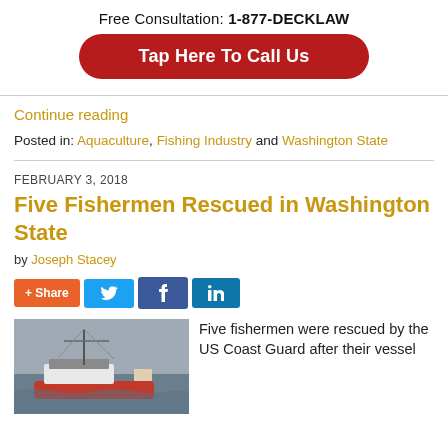Free Consultation: 1-877-DECKLAW
Tap Here To Call Us
Continue reading
Posted in: Aquaculture, Fishing Industry and Washington State
FEBRUARY 3, 2018
Five Fishermen Rescued in Washington State
by Joseph Stacey
[Figure (infographic): Social share buttons: +Share, Twitter, Facebook, LinkedIn]
[Figure (photo): A fishing vessel on the water under a grey cloudy sky]
Five fishermen were rescued by the US Coast Guard after their vessel